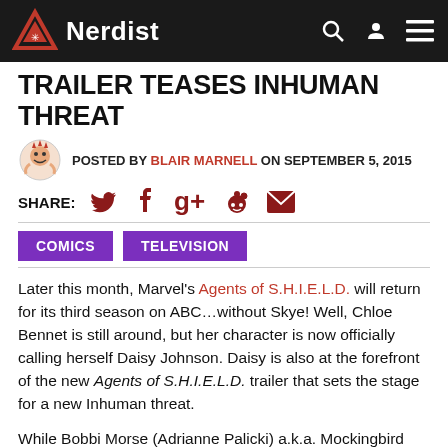Nerdist
TRAILER TEASES INHUMAN THREAT
POSTED BY BLAIR MARNELL ON SEPTEMBER 5, 2015
SHARE:
COMICS   TELEVISION
Later this month, Marvel’s Agents of S.H.I.E.L.D. will return for its third season on ABC…without Skye! Well, Chloe Bennet is still around, but her character is now officially calling herself Daisy Johnson. Daisy is also at the forefront of the new Agents of S.H.I.E.L.D. trailer that sets the stage for a new Inhuman threat.
While Bobbi Morse (Adrianne Palicki) a.k.a. Mockingbird and Lance Hunter (Nick Blood) are potentially getting their own show, Marvel’s Most Wanted, they are both in the new trailer alongside Director Phil Coulson (Clark Gregg), Agent